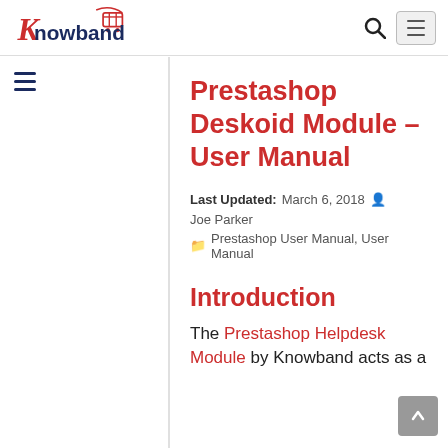Knowband [logo] [search icon] [menu button]
Prestashop Deskoid Module – User Manual
Last Updated: March 6, 2018  Joe Parker  Prestashop User Manual, User Manual
Introduction
The Prestashop Helpdesk Module by Knowband acts as a